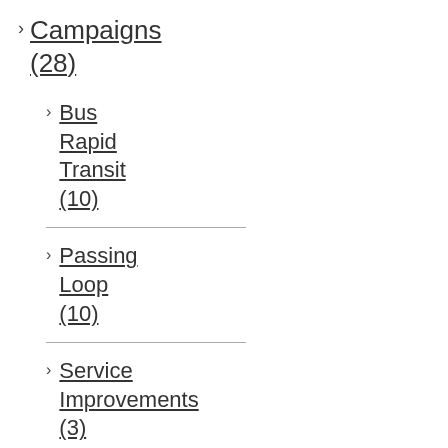Campaigns (28)
Bus Rapid Transit (10)
Passing Loop (10)
Service Improvements (3)
St Albans Station Connection